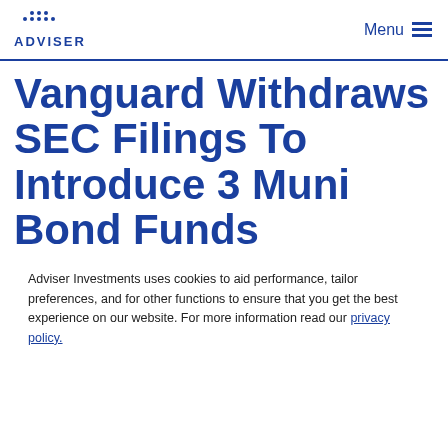ADVISER | Menu
Vanguard Withdraws SEC Filings To Introduce 3 Muni Bond Funds
Adviser Investments uses cookies to aid performance, tailor preferences, and for other functions to ensure that you get the best experience on our website. For more information read our privacy policy.